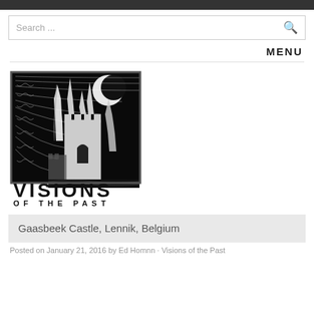Search ...
MENU
[Figure (logo): Visions of the Past logo: black and white illustration of a gothic castle with spires at night under a crescent moon with radiating curved lines in the sky, text 'VISIONS OF THE PAST' below]
Gaasbeek Castle, Lennik, Belgium
Posted on January 21, 2016 by Ed Homnn · Visions of the Past